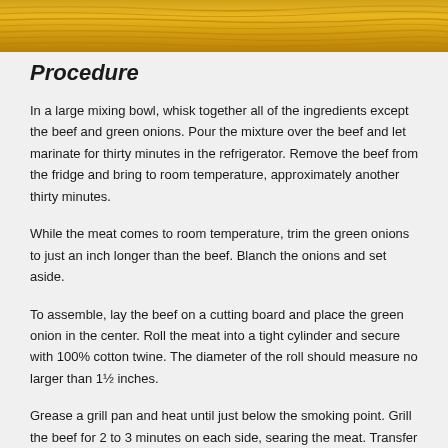[Figure (photo): Close-up photo of golden/yellow wooden texture or grain surface at the top of the page]
Procedure
In a large mixing bowl, whisk together all of the ingredients except the beef and green onions. Pour the mixture over the beef and let marinate for thirty minutes in the refrigerator. Remove the beef from the fridge and bring to room temperature, approximately another thirty minutes.
While the meat comes to room temperature, trim the green onions to just an inch longer than the beef. Blanch the onions and set aside.
To assemble, lay the beef on a cutting board and place the green onion in the center. Roll the meat into a tight cylinder and secure with 100% cotton twine. The diameter of the roll should measure no larger than 1½ inches.
Grease a grill pan and heat until just below the smoking point. Grill the beef for 2 to 3 minutes on each side, searing the meat. Transfer the beef to a platter and drizzle with sesame oil.
Serve with foil and let stand for 10 minutes before slicing. Use a sharp knife if…